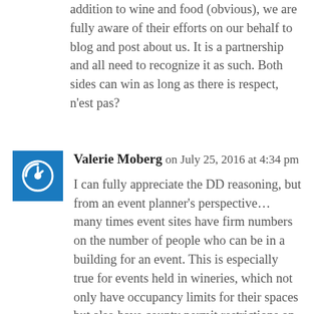addition to wine and food (obvious), we are fully aware of their efforts on our behalf to blog and post about us. It is a partnership and all need to recognize it as such. Both sides can win as long as there is respect, n'est pas?
Valerie Moberg on July 25, 2016 at 4:34 pm
I can fully appreciate the DD reasoning, but from an event planner's perspective… many times event sites have firm numbers on the number of people who can be in a building for an event. This is especially true for events held in wineries, which not only have occupancy limits for their spaces but also have county permit restrictions on the # of people that can attend various types of events. In cases like this if spouses/significant